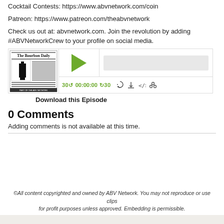Cocktail Contests: https://www.abvnetwork.com/coin
Patreon: https://www.patreon.com/theabvnetwork
Check us out at: abvnetwork.com. Join the revolution by adding #ABVNetworkCrew to your profile on social media.
[Figure (screenshot): Podcast audio player widget for The Bourbon Daily with play button, progress bar, time display 00:00:00, and media controls]
Download this Episode
0 Comments
Adding comments is not available at this time.
©All content copyrighted and owned by ABV Network. You may not reproduce or use clips for profit purposes unless approved. Embedding is permissible.